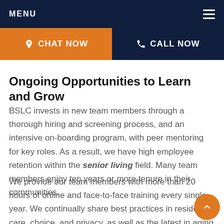MENU
[Figure (screenshot): Navigation bar with CHAT NOW (orange) and CALL NOW (dark blue) buttons]
programs to ensure ou... industry advances and s...
Ongoing Opportunities to Learn and Grow
BSLC invests in new team members through a thorough hiring and screening process, and an intensive on-boarding program, with peer mentoring for key roles. As a result, we have high employee retention within the senior living field. Many team members enjoy ten years or more tenure in their communities.
We provide our team members with more than 20 hours of online and face-to-face training every single year. We continually share best practices in resident care, choice, and privacy, as well as the latest in aging research with our teams. BSLC has been recognized among the top 10% of